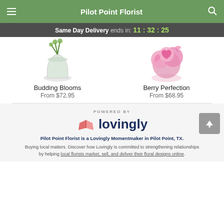Pilot Point Florist
Same Day Delivery ends in: 11:32:25
[Figure (photo): Budding Blooms flower arrangement in glass vase with green stems]
Budding Blooms
From $72.95
[Figure (photo): Berry Perfection pink floral arrangement]
Berry Perfection
From $68.95
[Figure (logo): Lovingly logo with pink heart/book icon and text 'lovingly']
POWERED BY
Pilot Point Florist is a Lovingly Momentmaker in Pilot Point, TX.
Buying local matters. Discover how Lovingly is committed to strengthening relationships by helping local florists market, sell, and deliver their floral designs online.